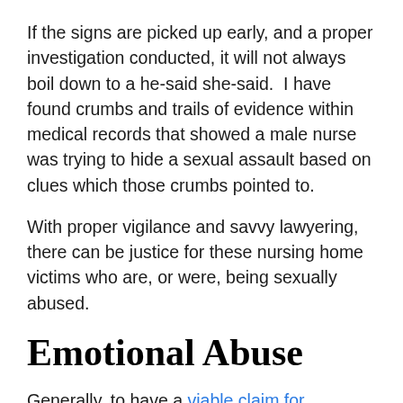If the signs are picked up early, and a proper investigation conducted, it will not always boil down to a he-said she-said.  I have found crumbs and trails of evidence within medical records that showed a male nurse was trying to hide a sexual assault based on clues which those crumbs pointed to.
With proper vigilance and savvy lawyering, there can be justice for these nursing home victims who are, or were, being sexually abused.
Emotional Abuse
Generally, to have a viable claim for emotional